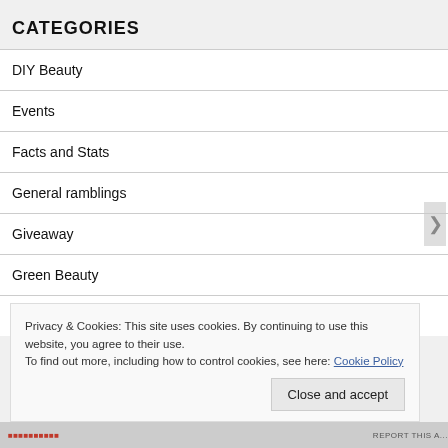CATEGORIES
DIY Beauty
Events
Facts and Stats
General ramblings
Giveaway
Green Beauty
Privacy & Cookies: This site uses cookies. By continuing to use this website, you agree to their use.
To find out more, including how to control cookies, see here: Cookie Policy
Close and accept